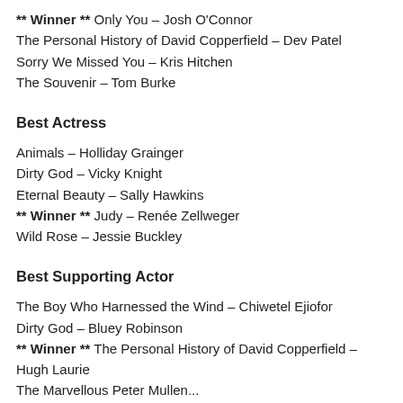** Winner ** Only You – Josh O'Connor
The Personal History of David Copperfield – Dev Patel
Sorry We Missed You – Kris Hitchen
The Souvenir – Tom Burke
Best Actress
Animals – Holliday Grainger
Dirty God – Vicky Knight
Eternal Beauty – Sally Hawkins
** Winner ** Judy – Renée Zellweger
Wild Rose – Jessie Buckley
Best Supporting Actor
The Boy Who Harnessed the Wind – Chiwetel Ejiofor
Dirty God – Bluey Robinson
** Winner ** The Personal History of David Copperfield – Hugh Laurie
The Marvellous Peter Mullen...